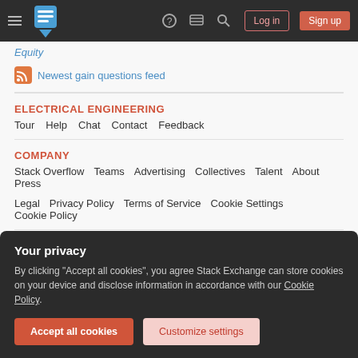Stack Exchange navigation bar with hamburger menu, logo, help, chat, search icons, Log in and Sign up buttons
Equity
Newest gain questions feed
ELECTRICAL ENGINEERING
Tour  Help  Chat  Contact  Feedback
COMPANY
Stack Overflow  Teams  Advertising  Collectives  Talent  About  Press  Legal  Privacy Policy  Terms of Service  Cookie Settings  Cookie Policy
STACK EXCHANGE NETWORK
Your privacy
By clicking "Accept all cookies", you agree Stack Exchange can store cookies on your device and disclose information in accordance with our Cookie Policy.
Accept all cookies   Customize settings